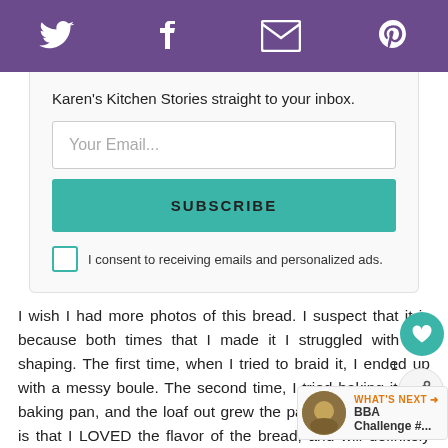Social share icons: Twitter, Facebook, Email, Pinterest
Karen's Kitchen Stories straight to your inbox.
[Figure (screenshot): Email subscription form with email input field, Subscribe button, and consent checkbox.]
I wish I had more photos of this bread. I suspect that it is because both times that I made it I struggled with the shaping. The first time, when I tried to braid it, I ended up with a messy boule. The second time, I tried baking it in a baking pan, and the loaf out grew the pan. The good news is that I LOVED the flavor of the bread, and will definitely make it again. I skipped the walnuts (although will include them next time), and changed